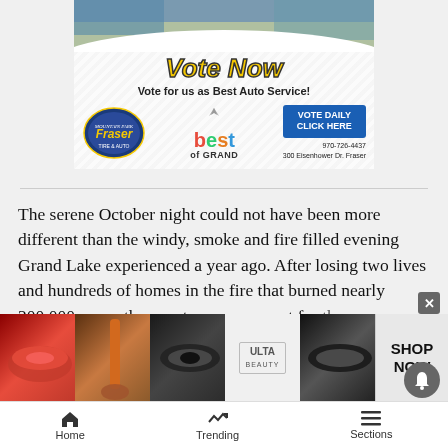[Figure (photo): Advertisement banner for Fraser Tire and Auto showing storefront photo at top, 'Vote Now' text in yellow script, 'Vote for us as Best Auto Service!' tagline, Fraser Tire and Auto logo, Best of Grand logo, Vote Daily Click Here button, phone 970-726-4437, address 300 Eisenhower Dr. Fraser]
The serene October night could not have been more different than the windy, smoke and fire filled evening Grand Lake experienced a year ago. After losing two lives and hundreds of homes in the fire that burned nearly 200,000 acres, the event was a moment f... comm...
[Figure (photo): Ulta Beauty advertisement banner with makeup/beauty images and Shop Now call to action]
Home   Trending   Sections